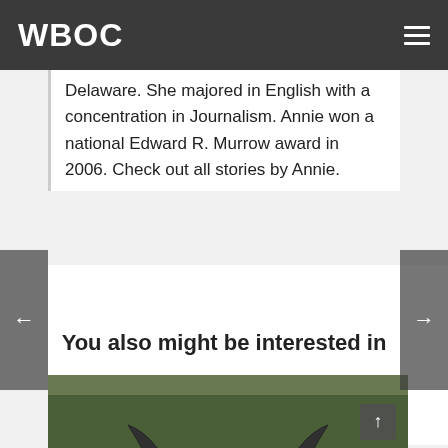WBOC
Delaware. She majored in English with a concentration in Journalism. Annie won a national Edward R. Murrow award in 2006. Check out all stories by Annie.
You also might be interested in
[Figure (photo): A dark sports car with gull-wing doors open, parked outdoors on grass with trees in background.]